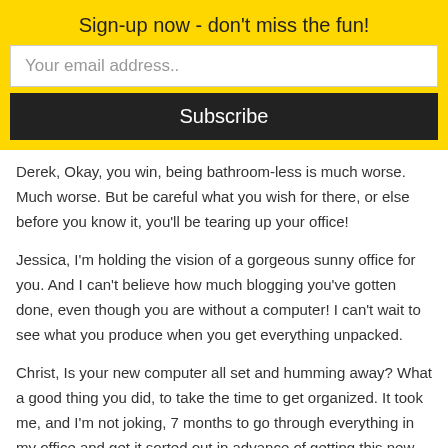Sign-up now - don't miss the fun!
Your email address..
Subscribe
Derek, Okay, you win, being bathroom-less is much worse. Much worse. But be careful what you wish for there, or else before you know it, you'll be tearing up your office!
Jessica, I'm holding the vision of a gorgeous sunny office for you. And I can't believe how much blogging you've gotten done, even though you are without a computer! I can't wait to see what you produce when you get everything unpacked.
Christ, Is your new computer all set and humming away? What a good thing you did, to take the time to get organized. It took me, and I'm not joking, 7 months to go through everything in my office and get it sorted out in advance of getting this new furniture.